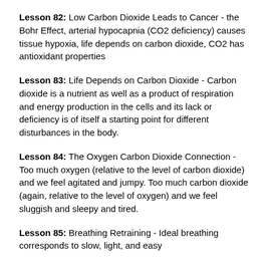Lesson 82: Low Carbon Dioxide Leads to Cancer - the Bohr Effect, arterial hypocapnia (CO2 deficiency) causes tissue hypoxia, life depends on carbon dioxide, CO2 has antioxidant properties
Lesson 83: Life Depends on Carbon Dioxide - Carbon dioxide is a nutrient as well as a product of respiration and energy production in the cells and its lack or deficiency is of itself a starting point for different disturbances in the body.
Lesson 84: The Oxygen Carbon Dioxide Connection - Too much oxygen (relative to the level of carbon dioxide) and we feel agitated and jumpy. Too much carbon dioxide (again, relative to the level of oxygen) and we feel sluggish and sleepy and tired.
Lesson 85: Breathing Retraining - Ideal breathing corresponds to slow, light, and easy